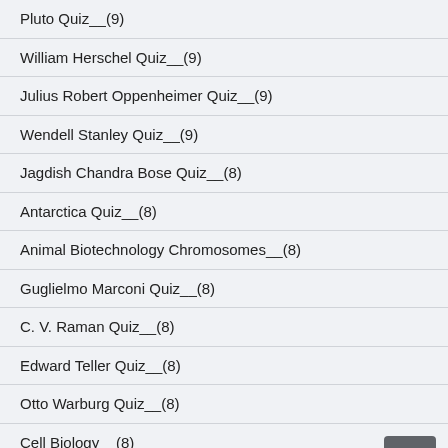Pluto Quiz__(9)
William Herschel Quiz__(9)
Julius Robert Oppenheimer Quiz__(9)
Wendell Stanley Quiz__(9)
Jagdish Chandra Bose Quiz__(8)
Antarctica Quiz__(8)
Animal Biotechnology Chromosomes__(8)
Guglielmo Marconi Quiz__(8)
C. V. Raman Quiz__(8)
Edward Teller Quiz__(8)
Otto Warburg Quiz__(8)
Cell Biology__(8)
Variety of life__(8)
Gregor Mendel Quiz__(8)